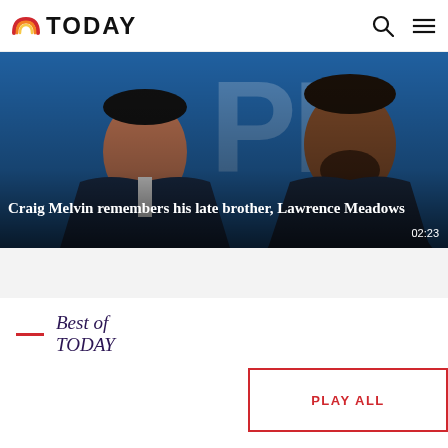TODAY
[Figure (photo): Two men in suits smiling at a blue-background event. Large text visible in background.]
Craig Melvin remembers his late brother, Lawrence Meadows
02:23
Best of TODAY
PLAY ALL